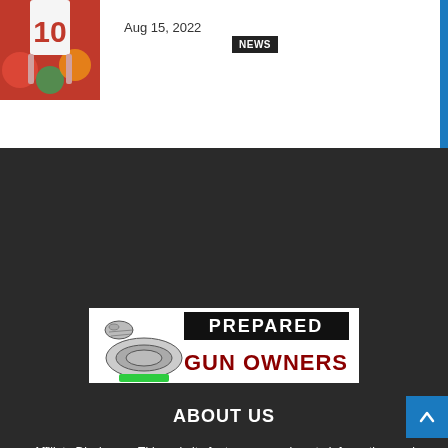[Figure (photo): Thumbnail image showing hands holding up a number 10 sign with colorful bokeh background]
NEWS  Aug 15, 2022
[Figure (logo): Prepared Gun Owners logo with coiled rattlesnake on left and text PREPARED GUN OWNERS on right]
ABOUT US
Affiliate Disclosure: This website features news, how-to information, and reviews of products. Keep in mind that some links are affiliate links which means we may receive a commission if you use them to make a purchase. However, we only recommend companies and their products because of